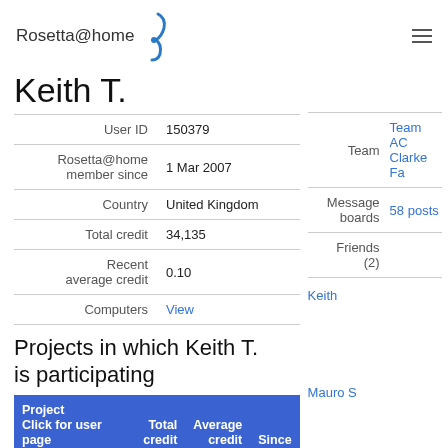Rosetta@home
Keith T.
| Field | Value |
| --- | --- |
| User ID | 150379 |
| Rosetta@home member since | 1 Mar 2007 |
| Country | United Kingdom |
| Total credit | 34,135 |
| Recent average credit | 0.10 |
| Computers | View |
| Field | Value |
| --- | --- |
| Team | Team AC Clarke Fa |
| Message boards | 58 posts |
| Friends (2) | Keith |
Projects in which Keith T. is participating
Mauro S
| Project Click for user page | Total credit | Average credit | Since |
| --- | --- | --- | --- |